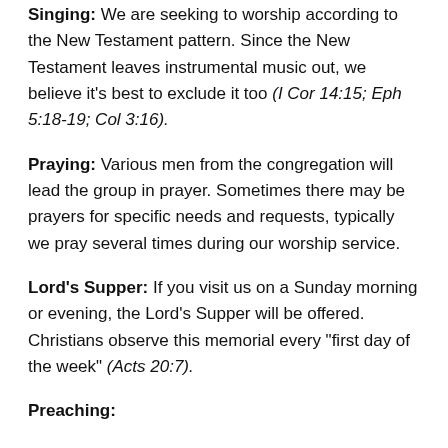Singing: We are seeking to worship according to the New Testament pattern. Since the New Testament leaves instrumental music out, we believe it's best to exclude it too (I Cor 14:15; Eph 5:18-19; Col 3:16).
Praying: Various men from the congregation will lead the group in prayer. Sometimes there may be prayers for specific needs and requests, typically we pray several times during our worship service.
Lord's Supper: If you visit us on a Sunday morning or evening, the Lord's Supper will be offered. Christians observe this memorial every "first day of the week" (Acts 20:7).
Preaching: ...